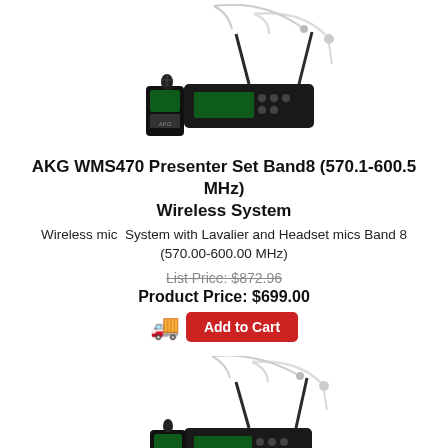[Figure (photo): AKG WMS470 Presenter Set Band8 wireless system showing bodypack transmitter, receiver unit, headset microphone, and lavalier microphone]
AKG WMS470 Presenter Set Band8 (570.1-600.5 MHz) Wireless System
Wireless mic System with Lavalier and Headset mics Band 8 (570.00-600.00 MHz)
List Price: $872.96
Product Price: $699.00
Add to Cart
[Figure (photo): AKG WMS470 Presenter Set Band7 wireless system showing bodypack transmitter, receiver unit, headset microphone, and lavalier microphone]
AKG WMS470 Presenter Set Band7 (500.1-530.5 MHz)